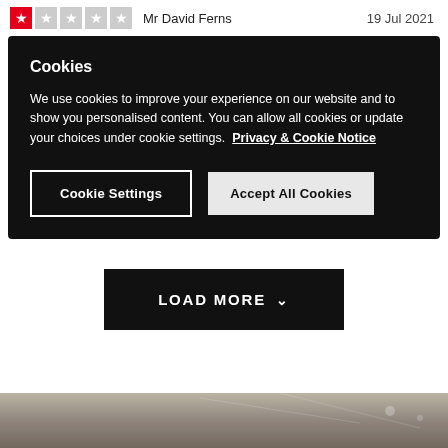Mr David Ferns  19 Jul 2021
[Figure (screenshot): Cookie consent overlay with dark background showing 'Cookies' heading, explanatory text about cookie usage, a Privacy & Cookie Notice link, a 'Cookie Settings' button with white border, and an 'Accept All Cookies' button with light background.]
LOAD MORE
[Figure (photo): Bottom strip showing a partial photo of what appears to be an interior space with grey/brown tones.]